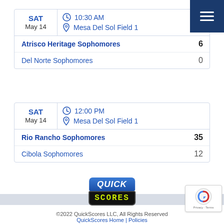| Date | Time/Location | Score |
| --- | --- | --- |
| SAT May 14 | 10:30 AM / Mesa Del Sol Field 1 |  |
| Atrisco Heritage Sophomores |  | 6 |
| Del Norte Sophomores |  | 0 |
| Date | Time/Location | Score |
| --- | --- | --- |
| SAT May 14 | 12:00 PM / Mesa Del Sol Field 1 |  |
| Rio Rancho Sophomores |  | 35 |
| Cibola Sophomores |  | 12 |
[Figure (logo): QuickScores logo with blue rounded rectangle on top saying QUICK in white italic bold text, and black scoreboard-style panel on bottom saying SCORES in yellow-green LED dot-matrix style text]
©2022 QuickScores LLC, All Rights Reserved
QuickScores Home | Policies